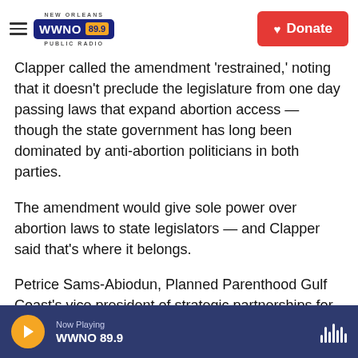NEW ORLEANS WWNO 89.9 PUBLIC RADIO | Donate
Clapper called the amendment 'restrained,' noting that it doesn't preclude the legislature from one day passing laws that expand abortion access — though the state government has long been dominated by anti-abortion politicians in both parties.
The amendment would give sole power over abortion laws to state legislators — and Clapper said that's where it belongs.
Petrice Sams-Abiodun, Planned Parenthood Gulf Coast's vice president of strategic partnerships for Louisiana, takes the opposite view.
Now Playing WWNO 89.9